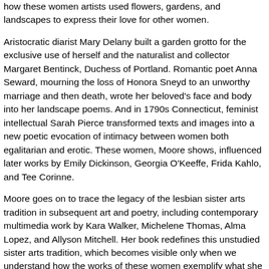how these women artists used flowers, gardens, and landscapes to express their love for other women.
Aristocratic diarist Mary Delany built a garden grotto for the exclusive use of herself and the naturalist and collector Margaret Bentinck, Duchess of Portland. Romantic poet Anna Seward, mourning the loss of Honora Sneyd to an unworthy marriage and then death, wrote her beloved's face and body into her landscape poems. And in 1790s Connecticut, feminist intellectual Sarah Pierce transformed texts and images into a new poetic evocation of intimacy between women both egalitarian and erotic. These women, Moore shows, influenced later works by Emily Dickinson, Georgia O'Keeffe, Frida Kahlo, and Tee Corinne.
Moore goes on to trace the legacy of the lesbian sister arts tradition in subsequent art and poetry, including contemporary multimedia work by Kara Walker, Michelene Thomas, Alma Lopez, and Allyson Mitchell. Her book redefines this unstudied sister arts tradition, which becomes visible only when we understand how the works of these women exemplify what she deems “lesbian genres.” It will captivate readers who want to know more about women’s contributions to garden history and landscape design—as well as those looking for a new perspective on queer history, literature, and culture.